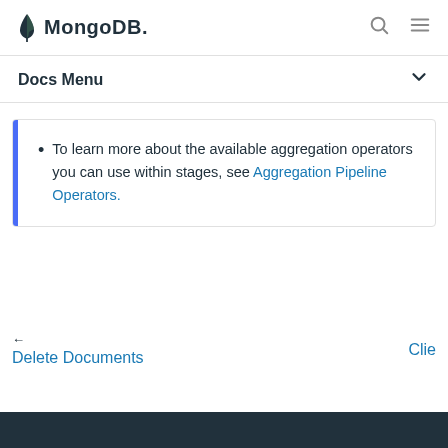MongoDB
Docs Menu
To learn more about the available aggregation operators you can use within stages, see Aggregation Pipeline Operators.
← Delete Documents  Clie